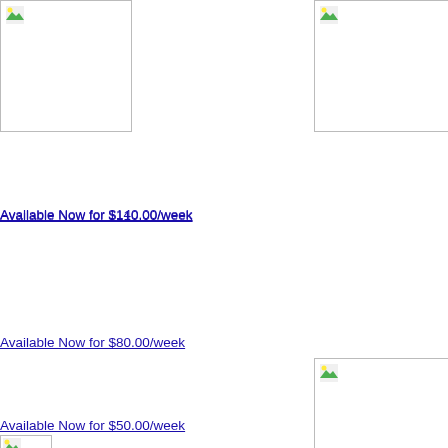[Figure (photo): Property listing image placeholder top-left]
Available Now for $140.00/week
[Figure (photo): Property listing image placeholder top-right]
Available Now for $110.00/week
Available Now for $80.00/week
[Figure (photo): Property listing image placeholder bottom-right]
Available Now for $50.00/week
[Figure (photo): Property listing image placeholder bottom-left partial]